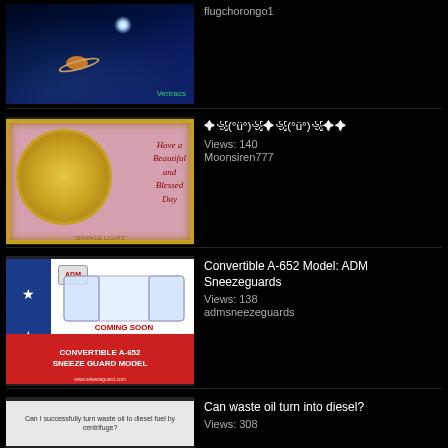[Figure (screenshot): Video thumbnail: space scene with bright star and Saturn planet, green watermark text bottom right]
Views: [cut off]
flugchorongo1
[Figure (photo): Video thumbnail: decorative greeting card with swans on gold circle, pink background, text 'Have a Beautiful and Blessed Day']
✦꧁(°ü°)꧁✦꧁(°ü°)꧁✦✦
Views: 140
Moonsiren777
[Figure (photo): Video thumbnail: Convertible A-652 Sneeze Guard Model product image with blue panel and red banner]
Convertible A-652 Model: ADM Sneezeguards
Views: 138
admsneezeguards
[Figure (screenshot): Video thumbnail: partial image about waste oil turning into diesel]
Can waste oil turn into diesel?
Views: 308